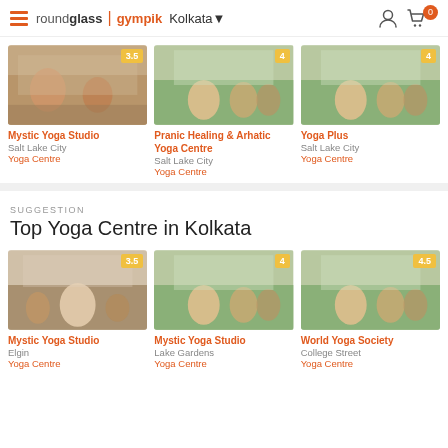roundglass | gympik  Kolkata
[Figure (screenshot): Yoga class photo with rating 3.5 - Mystic Yoga Studio]
Mystic Yoga Studio
Salt Lake City
Yoga Centre
[Figure (screenshot): Yoga class photo with rating 4 - Pranic Healing & Arhatic Yoga Centre]
Pranic Healing & Arhatic Yoga Centre
Salt Lake City
Yoga Centre
[Figure (screenshot): Yoga class photo with rating 4 - Yoga Plus]
Yoga Plus
Salt Lake City
Yoga Centre
SUGGESTION
Top Yoga Centre in Kolkata
[Figure (screenshot): Yoga class photo with rating 3.5 - Mystic Yoga Studio Elgin]
Mystic Yoga Studio
Elgin
Yoga Centre
[Figure (screenshot): Yoga class photo with rating 4 - Mystic Yoga Studio Lake Gardens]
Mystic Yoga Studio
Lake Gardens
Yoga Centre
[Figure (screenshot): Yoga class photo with rating 4.5 - World Yoga Society]
World Yoga Society
College Street
Yoga Centre